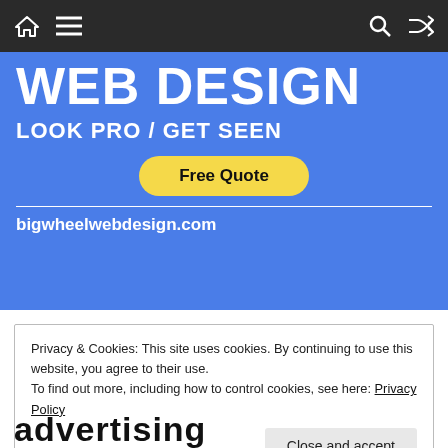Navigation bar with home, menu, search, and shuffle icons
[Figure (infographic): Web design advertisement banner with blue background, 'WEB DESIGN' heading, 'LOOK PRO / GET SEEN' tagline, 'Free Quote' button, and 'bigwheelwebdesign.com' URL]
Privacy & Cookies: This site uses cookies. By continuing to use this website, you agree to their use.
To find out more, including how to control cookies, see here: Privacy Policy
Close and accept
advertising